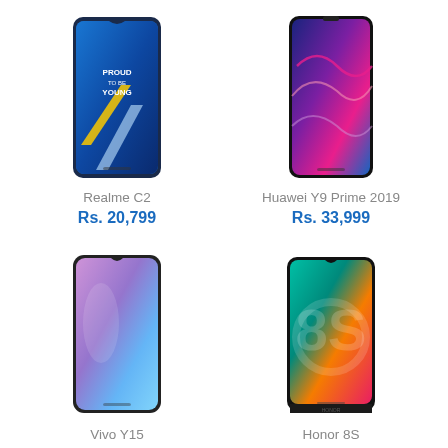[Figure (photo): Realme C2 smartphone product image]
Realme C2
Rs. 20,799
[Figure (photo): Huawei Y9 Prime 2019 smartphone product image]
Huawei Y9 Prime 2019
Rs. 33,999
[Figure (photo): Vivo Y15 smartphone product image]
Vivo Y15
Rs. 29,999
[Figure (photo): Honor 8S smartphone product image]
Honor 8S
Rs. 17,349
Brand
Alcatel
Apple iphone